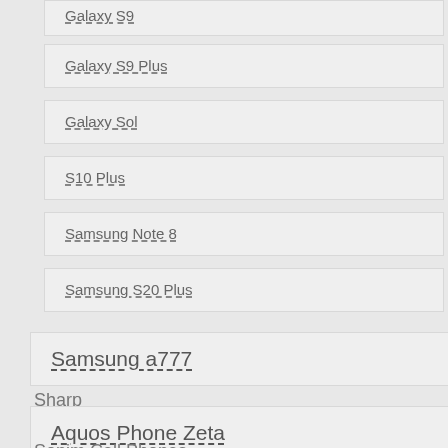Galaxy S9
Galaxy S9 Plus
Galaxy Sol
S10 Plus
Samsung Note 8
Samsung S20 Plus
Samsung a777
Sharp
Aquos Phone Zeta
Sonim Cell Phones